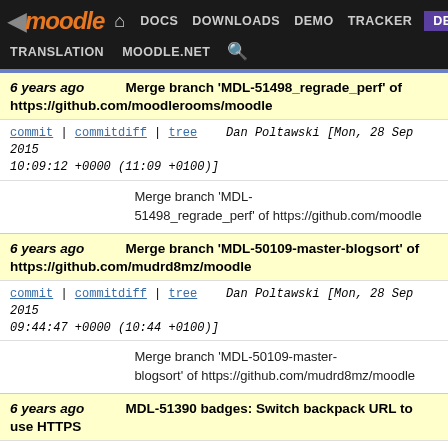moodle — DOCS DOWNLOADS DEMO TRACKER DEV — TRANSLATION MOODLE.NET
6 years ago   Merge branch 'MDL-51498_regrade_perf' of https://github.com/moodlerooms/moodle
commit | commitdiff | tree   Dan Poltawski [Mon, 28 Sep 2015 10:09:12 +0000 (11:09 +0100)]
Merge branch 'MDL-51498_regrade_perf' of https://github.com/moodle
6 years ago   Merge branch 'MDL-50109-master-blogsort' of https://github.com/mudrd8mz/moodle
commit | commitdiff | tree   Dan Poltawski [Mon, 28 Sep 2015 09:44:47 +0000 (10:44 +0100)]
Merge branch 'MDL-50109-master-blogsort' of https://github.com/mudrd8mz/moodle
6 years ago   MDL-51390 badges: Switch backpack URL to use HTTPS
commit | commitdiff | tree   Yuliya Bozhko [Tue, 22 Sep 2015 14:23:24 +0000 (15:23 +0100)]